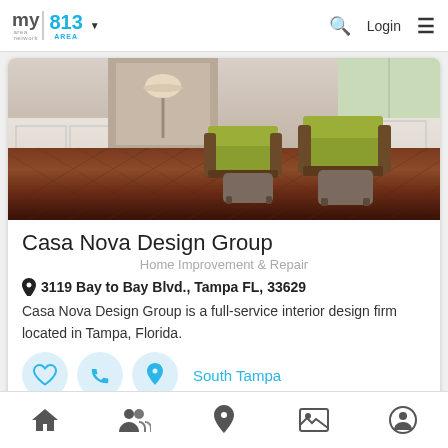my area network | 813 AREA ▾  🔍  Login  ≡
[Figure (photo): Interior design photo showing a living room with hardwood parquet flooring, two olive-green armchairs with dark wood frames and matching ottomans, white wainscoting walls, and natural light from windows]
Casa Nova Design Group
Home Improvement & Repair
📍 3119 Bay to Bay Blvd., Tampa FL, 33629
Casa Nova Design Group is a full-service interior design firm located in Tampa, Florida.
♡  📞  📍  South Tampa
🏠  👥  📍  🖼  👤